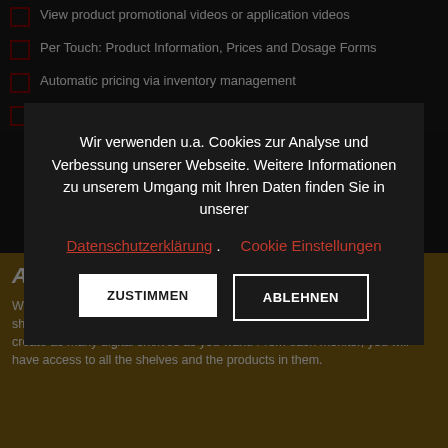View product promotional videos or application videos
Per Touch: Product Information, Prices and Dosage Forms
Automatic pricing via inventory management
Price tag display also possible with e.g. offer price and/or saving
Wir verwenden u.a. Cookies zur Analyse und Verbessung unserer Webseite. Weitere Informationen zu unserem Umgang mit Ihren Daten finden Sie in unserer Datenschutzerklärung. Cookie Einstellungen
ZUSTIMMEN
ABLEHNEN
All your products
While you only have access to the products on the shelf in the traditional shelves, you have much more possibilities with the touch shelves. You can create as many digital shelves as you want. From each monitor, you will have access to all the shelves and the products in them.